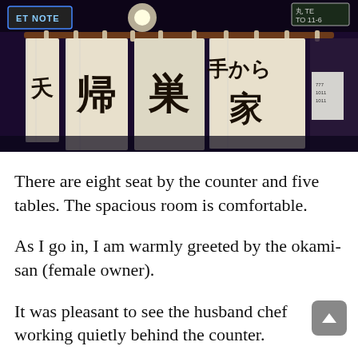[Figure (photo): Photograph of a Japanese restaurant entrance at night showing hanging noren curtains with Japanese calligraphy characters, a lit sign reading 'ET NOTE' on the left and '11-6' on the upper right, dark storefront background.]
There are eight seat by the counter and five tables. The spacious room is comfortable.
As I go in, I am warmly greeted by the okami-san (female owner).
It was pleasant to see the husband chef working quietly behind the counter.